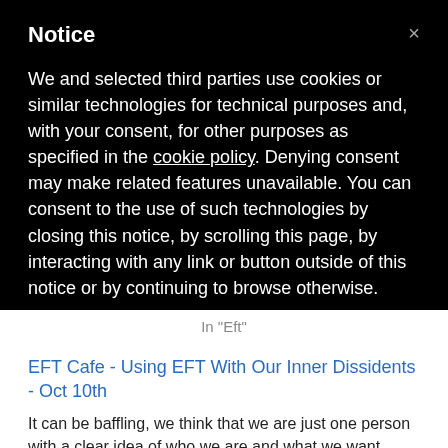Notice
We and selected third parties use cookies or similar technologies for technical purposes and, with your consent, for other purposes as specified in the cookie policy. Denying consent may make related features unavailable. You can consent to the use of such technologies by closing this notice, by scrolling this page, by interacting with any link or button outside of this notice or by continuing to browse otherwise.
In "Eft"
EFT Cafe - Using EFT With Our Inner Dissidents - Oct 10th
It can be baffling, we think that we are just one person with a clear idea of who we are and what we want
October 7, 2013